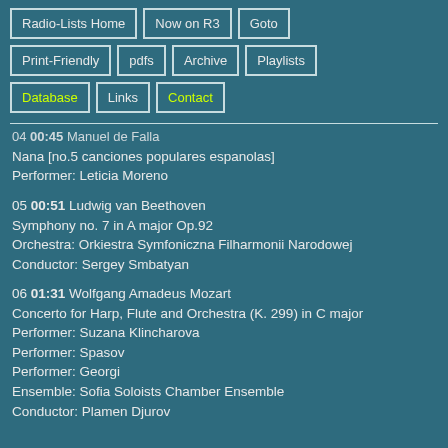Radio-Lists Home
Now on R3
Goto
Print-Friendly
pdfs
Archive
Playlists
Database
Links
Contact
04 00:45 Manuel de Falla
Nana [no.5 canciones populares espanolas]
Performer: Leticia Moreno
05 00:51 Ludwig van Beethoven
Symphony no. 7 in A major Op.92
Orchestra: Orkiestra Symfoniczna Filharmonii Narodowej
Conductor: Sergey Smbatyan
06 01:31 Wolfgang Amadeus Mozart
Concerto for Harp, Flute and Orchestra (K. 299) in C major
Performer: Suzana Klincharova
Performer: Spasov
Performer: Georgi
Ensemble: Sofia Soloists Chamber Ensemble
Conductor: Plamen Djurov